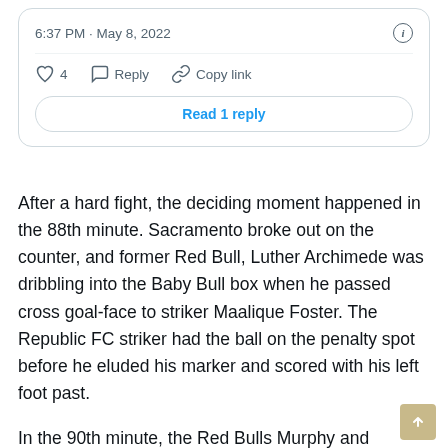[Figure (screenshot): Tweet card showing timestamp '6:37 PM · May 8, 2022', info icon, divider, action row with heart (4), Reply, Copy link, and a 'Read 1 reply' button]
After a hard fight, the deciding moment happened in the 88th minute. Sacramento broke out on the counter, and former Red Bull, Luther Archimede was dribbling into the Baby Bull box when he passed cross goal-face to striker Maalique Foster. The Republic FC striker had the ball on the penalty spot before he eluded his marker and scored with his left foot past.
In the 90th minute, the Red Bulls Murphy and Sacramento's Archimede were each shown their second yellow cards and a subsequent red card for committing bad fouls against one another.